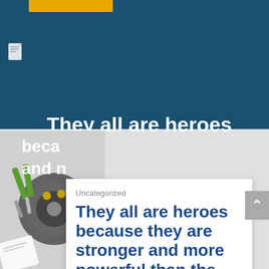[Figure (screenshot): Dark blue header background with a yellow/orange button at top and a small document icon below it]
They all are heroes
beca and n
[Figure (photo): Photo of mechanical/electrical components including what appears to be a motor or engine part with green handles and metal parts, on a gray background]
Uncategorized
They all are heroes because they are stronger and more powerful than the